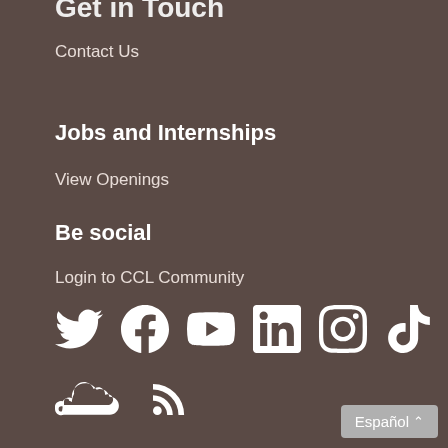…Get in Touch…
Contact Us
Jobs and Internships
View Openings
Be social
Login to CCL Community
[Figure (other): Social media icons row 1: Twitter, Facebook, YouTube, LinkedIn, Instagram, TikTok]
[Figure (other): Social media icons row 2: SoundCloud, RSS feed]
Español ^